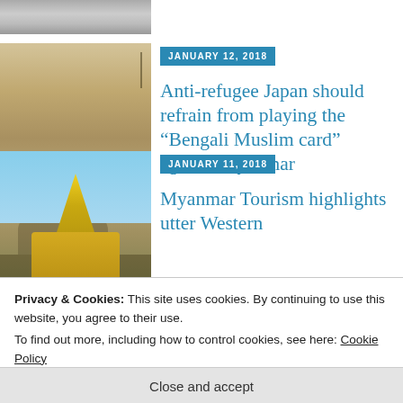[Figure (photo): Partial top image showing people in white uniforms]
[Figure (photo): Sepia historical photo of a reclining Buddha statue in an outdoor setting]
JANUARY 12, 2018
Anti-refugee Japan should refrain from playing the “Bengali Muslim card” against Myanmar
[Figure (photo): Photo of golden pagoda (Shwedagon) against blue sky]
JANUARY 11, 2018
Myanmar Tourism highlights utter Western
Privacy & Cookies: This site uses cookies. By continuing to use this website, you agree to their use.
To find out more, including how to control cookies, see here: Cookie Policy
Close and accept
The United States and the